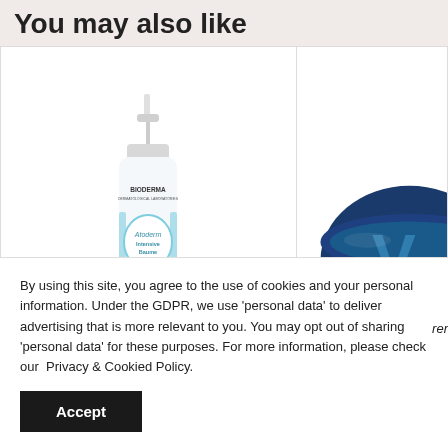You may also like
[Figure (photo): Bioderma Atoderm Intensive Baume bottle pump dispenser product photo]
[Figure (photo): Vichy product partially visible on the right side]
Reviews
By using this site, you agree to the use of cookies and your personal information. Under the GDPR, we use 'personal data' to deliver advertising that is more relevant to you. You may opt out of sharing 'personal data' for these purposes. For more information, please check our  Privacy & Cookied Policy.
Accept